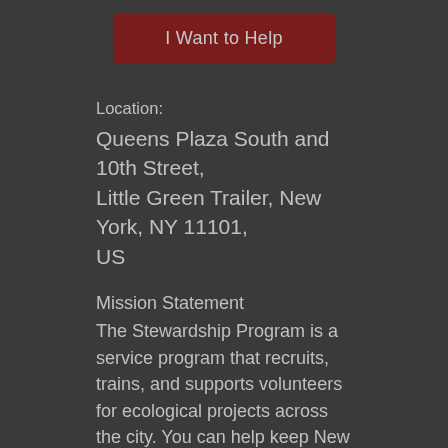[Figure (other): Red button labeled 'I Want to Help']
Location:
Queens Plaza South and 10th Street, Little Green Trailer, New York, NY 11101, US
Mission Statement
The Stewardship Program is a service program that recruits, trains, and supports volunteers for ecological projects across the city. You can help keep New York City's forests, wetlands, and coastlines thriving. Join us to plant trees, shrubs, and grasses; remove harmful invasive exotic vegetation; care for street tree beds; and remove debris from our wetlands.